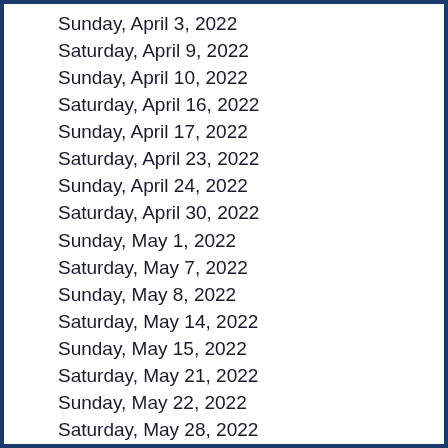Sunday, April 3, 2022
Saturday, April 9, 2022
Sunday, April 10, 2022
Saturday, April 16, 2022
Sunday, April 17, 2022
Saturday, April 23, 2022
Sunday, April 24, 2022
Saturday, April 30, 2022
Sunday, May 1, 2022
Saturday, May 7, 2022
Sunday, May 8, 2022
Saturday, May 14, 2022
Sunday, May 15, 2022
Saturday, May 21, 2022
Sunday, May 22, 2022
Saturday, May 28, 2022
Sunday, May 29, 2022
Saturday, June 4, 2022
Sunday, June 5, 2022